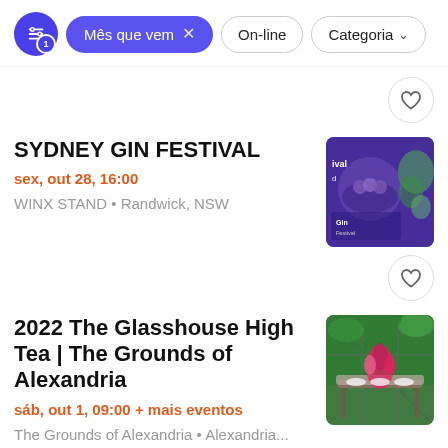[Figure (screenshot): Filter bar with active filter 'Mês que vem', 'On-line' pill, and 'Categoria' dropdown pill]
[Figure (photo): Sydney Gin Festival promotional image with purple background, circular group photo and botanical elements]
SYDNEY GIN FESTIVAL
sex, out 28, 16:00
WINX STAND • Randwick, NSW
[Figure (photo): 2022 The Glasshouse High Tea event photo showing elegant table setting with floral arrangements in a greenhouse]
2022 The Glasshouse High Tea | The Grounds of Alexandria
sáb, out 1, 09:00 + mais eventos
The Grounds of Alexandria • Alexandria...